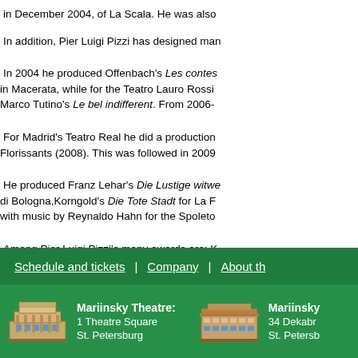in December 2004, of La Scala. He was also
In addition, Pier Luigi Pizzi has designed man
In 2004 he produced Offenbach's Les contes in Macerata, while for the Teatro Lauro Rossi Marco Tutino's Le bel indifferent. From 2006-
For Madrid's Teatro Real he did a production Florissants (2008). This was followed in 2009
He produced Franz Lehar's Die Lustige witwe di Bologna,Korngold's Die Tote Stadt for La F with music by Reynaldo Hahn for the Spoleto
Among Pier Luigi Pizzi's many awards are: K of Merit of the Italian Republic, Commander o
Schedule and tickets | Company | About the — Mariinsky Theatre: 1 Theatre Square St. Petersburg — Mariinsky 34 Dekabr St. Petersb